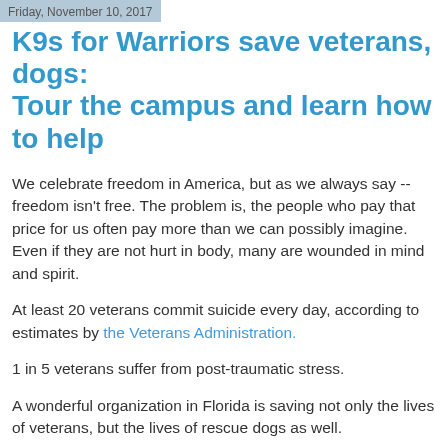Friday, November 10, 2017
K9s for Warriors save veterans, dogs: Tour the campus and learn how to help
We celebrate freedom in America, but as we always say -- freedom isn't free. The problem is, the people who pay that price for us often pay more than we can possibly imagine. Even if they are not hurt in body, many are wounded in mind and spirit.
At least 20 veterans commit suicide every day, according to estimates by the Veterans Administration.
1 in 5 veterans suffer from post-traumatic stress.
A wonderful organization in Florida is saving not only the lives of veterans, but the lives of rescue dogs as well.
[Figure (photo): Three photos side by side: interior room with dining table, American flag on wall, exterior building with trees]